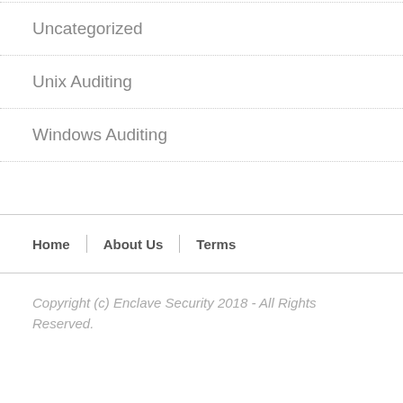Uncategorized
Unix Auditing
Windows Auditing
Home  About Us  Terms
Copyright (c) Enclave Security 2018 - All Rights Reserved.